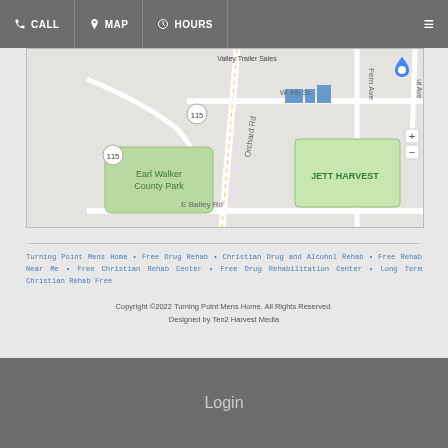CALL  MAP  HOURS
[Figure (map): Google Maps view showing Earl Walker County Park, Orchard Rd, W 4th St, E Bailey Rd, Fern Ave, JETT HARVEST label, route 115 markers, and a blue map pin.]
Turning Point Mens Home • Free Drug Rehab • Christian Drug and Alcohol Rehab • Free Rehab Near Me • Free Christian Rehab Center • Free Drug Rehabilitation Center • Long Term Christian Rehab Free
Copyright ©2022 Turning Point Mens Home. All Rights Reserved.
Designed by Ten2 Harvest Media
Login